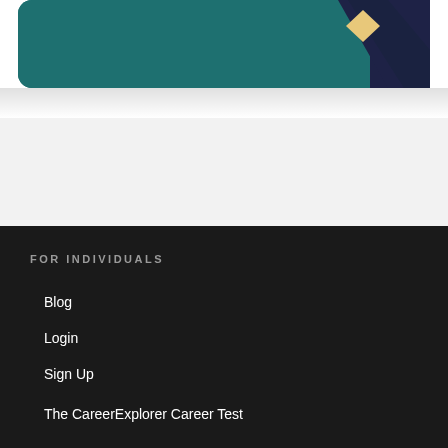[Figure (illustration): Partial view of a card/banner with teal background and dark navy corner section with a yellow diamond shape]
FOR INDIVIDUALS
Blog
Login
Sign Up
The CareerExplorer Career Test